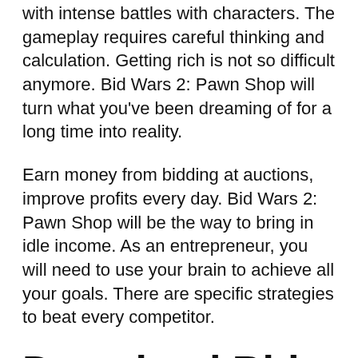with intense battles with characters. The gameplay requires careful thinking and calculation. Getting rich is not so difficult anymore. Bid Wars 2: Pawn Shop will turn what you've been dreaming of for a long time into reality.
Earn money from bidding at auctions, improve profits every day. Bid Wars 2: Pawn Shop will be the way to bring in idle income. As an entrepreneur, you will need to use your brain to achieve all your goals. There are specific strategies to beat every competitor.
Download Bid Wars 2: Pawn Shop mod –